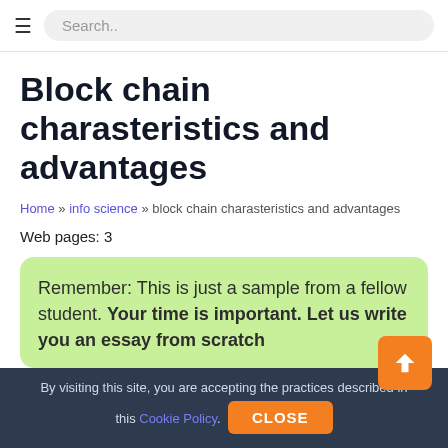≡  Search..
Block chain charasteristics and advantages
Home » info science » block chain charasteristics and advantages
Web pages: 3
Remember: This is just a sample from a fellow student. Your time is important. Let us write you an essay from scratch
By visiting this site, you are accepting the practices described in this Cookie Policy.  CLOSE